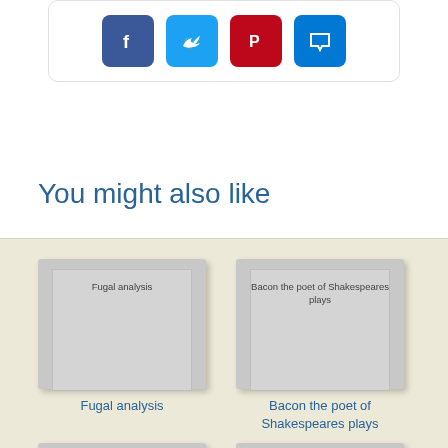[Figure (screenshot): Social media share buttons: Facebook (blue), Twitter (light blue), Pinterest (red), and a message/chat icon (blue), inside a rounded rectangle card]
You might also like
[Figure (illustration): Book cover placeholder with title 'Fugal analysis']
Fugal analysis
[Figure (illustration): Book cover placeholder with title 'Bacon the poet of Shakespeares plays']
Bacon the poet of Shakespeares plays
[Figure (illustration): Book cover placeholder (partially visible, no title shown)]
[Figure (illustration): Book cover placeholder (partially visible, no title shown)]